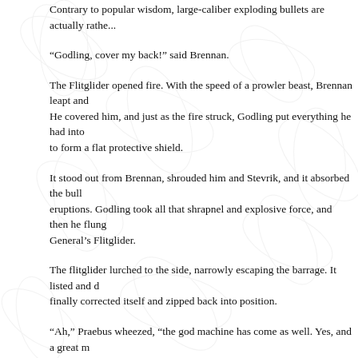Contrary to popular wisdom, large-caliber exploding bullets are actually rather...
“Godling, cover my back!” said Brennan.
The Flitglider opened fire. With the speed of a prowler beast, Brennan leapt and He covered him, and just as the fire struck, Godling put everything he had into to form a flat protective shield.
It stood out from Brennan, shrouded him and Stevrik, and it absorbed the bulle eruptions. Godling took all that shrapnel and explosive force, and then he flung General’s Flitglider.
The flitglider lurched to the side, narrowly escaping the barrage. It listed and d finally corrected itself and zipped back into position.
“Ah,” Praebus wheezed, “the god machine has come as well. Yes, and a great m taught me, monster king. I shan’t repeat that mistake again. Gunner Sergeant!
“Big Beth?” Godling said. “Who in all the unrighteous hells is Big—”
“Never mind that, Godling,” said Brennan. “What you just did, the way you shie
“Brennan!” Ressia rushed over to them and dropped to the grass, her hair whi downdraft of the Flitglider’s oscillators. She marked Brennan with a deluge of k